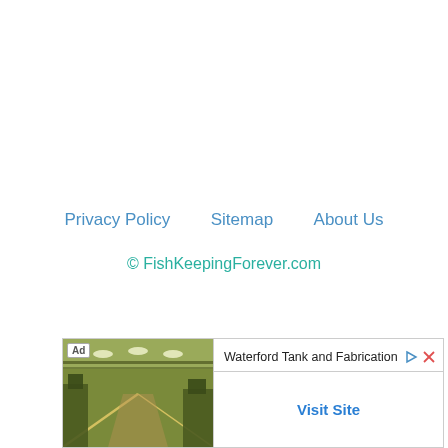Privacy Policy    Sitemap    About Us
© FishKeepingForever.com
[Figure (other): Advertisement banner for Waterford Tank and Fabrication with factory interior photo, showing 'Visit Site' link]